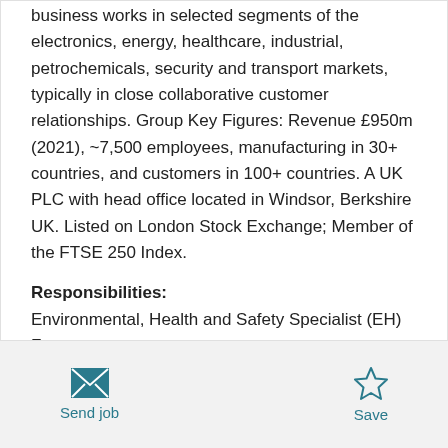business works in selected segments of the electronics, energy, healthcare, industrial, petrochemicals, security and transport markets, typically in close collaborative customer relationships. Group Key Figures: Revenue £950m (2021), ~7,500 employees, manufacturing in 30+ countries, and customers in 100+ countries. A UK PLC with head office located in Windsor, Berkshire UK. Listed on London Stock Exchange; Member of the FTSE 250 Index.
Responsibilities:
Environmental, Health and Safety Specialist (EH) Fast
Send job | Save